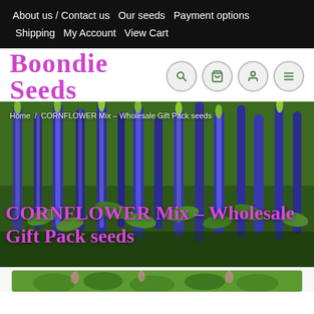About us / Contact us   Our seeds   Payment options   Shipping   My Account   View Cart
Boondie Seeds
[Figure (screenshot): Navigation icon buttons: search, cart, user account, menu]
Home / CORNFLOWER Mix – Wholesale Gift Pack seeds
CORNFLOWER Mix – Wholesale Gift Pack seeds
[Figure (photo): Close-up photo of tall purple/blue flower spikes (veronica or similar) with green foliage background]